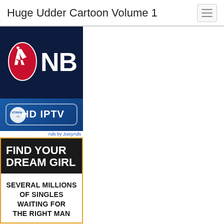Huge Udder Cartoon Volume 1
[Figure (screenshot): NBA HD IPTV advertisement banner with NBA logo on dark navy background and HD IPTV badge on blue gradient background, with 'Ads by JuicyAds' label]
[Figure (infographic): Dating site advertisement with dark header reading 'FIND YOUR DREAM GIRL' and white body text reading 'SEVERAL MILLIONS OF SINGLES WAITING FOR THE RIGHT MAN', gold border]